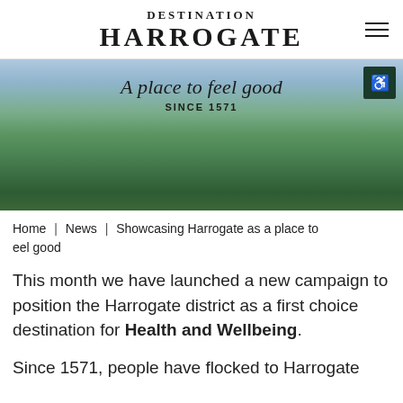DESTINATION HARROGATE
[Figure (photo): Aerial/landscape view of the Harrogate district countryside with green hills, fields, trees, and cloudy sky. Text overlay: 'A place to feel good' in italic and 'SINCE 1571' in small caps.]
Home | News | Showcasing Harrogate as a place to feel good
This month we have launched a new campaign to position the Harrogate district as a first choice destination for Health and Wellbeing.
Since 1571, people have flocked to Harrogate to find the benefits of its unique yet easy to...